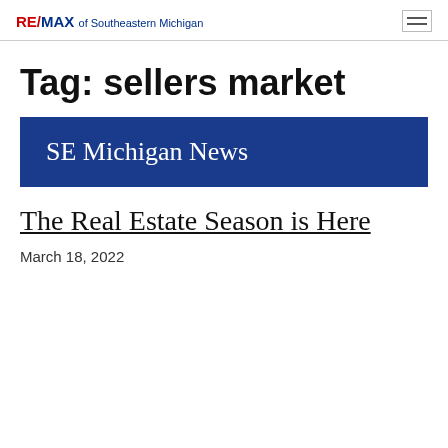RE/MAX of Southeastern Michigan
Tag: sellers market
SE Michigan News
The Real Estate Season is Here
March 18, 2022